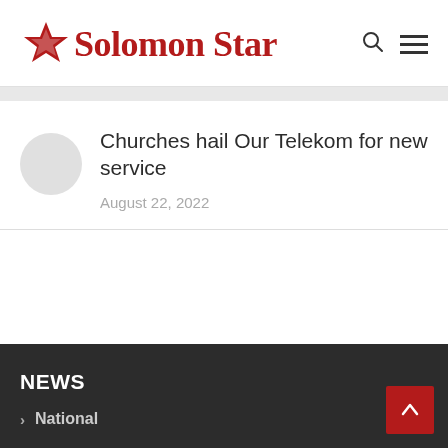Solomon Star
Churches hail Our Telekom for new service
August 22, 2022
NEWS
National